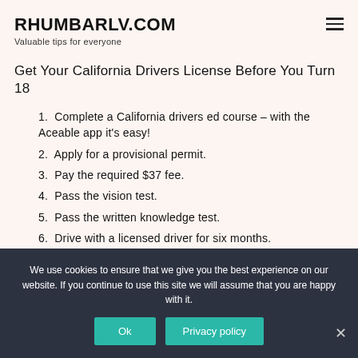RHUMBARLV.COM
Valuable tips for everyone
Get Your California Drivers License Before You Turn 18
Complete a California drivers ed course – with the Aceable app it's easy!
Apply for a provisional permit.
Pay the required $37 fee.
Pass the vision test.
Pass the written knowledge test.
Drive with a licensed driver for six months.
We use cookies to ensure that we give you the best experience on our website. If you continue to use this site we will assume that you are happy with it.